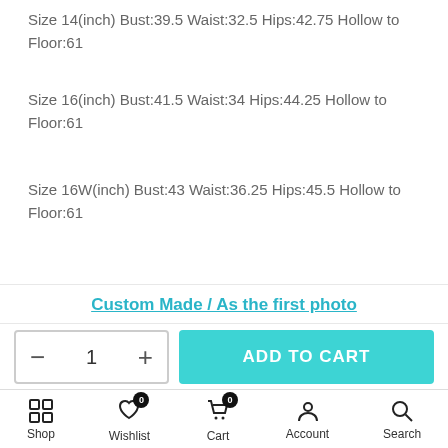Size 14(inch) Bust:39.5 Waist:32.5 Hips:42.75 Hollow to Floor:61
Size 16(inch) Bust:41.5 Waist:34 Hips:44.25 Hollow to Floor:61
Size 16W(inch) Bust:43 Waist:36.25 Hips:45.5 Hollow to Floor:61
Custom Made: Just please leave your measurements in the note at the checkout page.
We need your measurements:
Custom Made / As the first photo
- 1 +  ADD TO CART
Shop  Wishlist  Cart  Account  Search